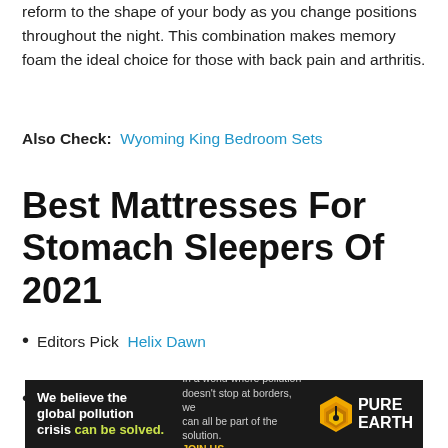reform to the shape of your body as you change positions throughout the night. This combination makes memory foam the ideal choice for those with back pain and arthritis.
Also Check:  Wyoming King Bedroom Sets
Best Mattresses For Stomach Sleepers Of 2021
Editors Pick  Helix Dawn
Best Mattress for Stomach Sleepers with Back Pain
[Figure (infographic): Advertisement banner for Pure Earth. Black background with text: 'We believe the global pollution crisis can be solved.' and 'In a world where pollution doesn't stop at borders, we can all be part of the solution. JOIN US.' with Pure Earth logo (yellow diamond with layered earth icon) on the right.]